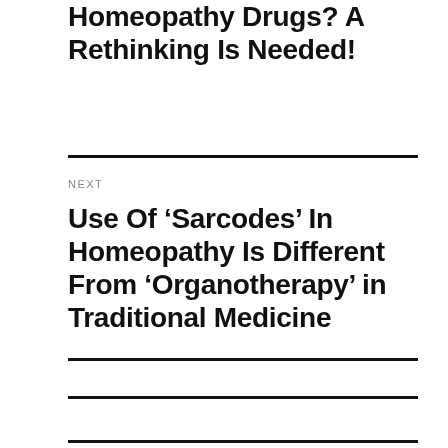Homeopathy Drugs? A Rethinking Is Needed!
NEXT
Use Of ‘Sarcodes’ In Homeopathy Is Different From ‘Organotherapy’ in Traditional Medicine